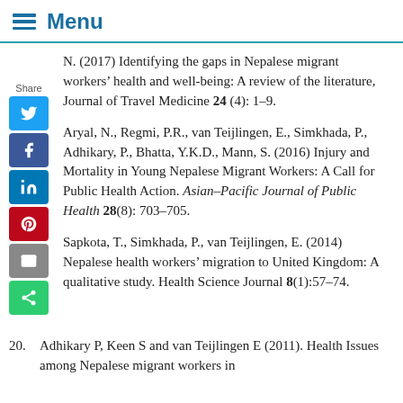Menu
N. (2017) Identifying the gaps in Nepalese migrant workers’ health and well-being: A review of the literature, Journal of Travel Medicine 24 (4): 1–9.
Aryal, N., Regmi, P.R., van Teijlingen, E., Simkhada, P., Adhikary, P., Bhatta, Y.K.D., Mann, S. (2016) Injury and Mortality in Young Nepalese Migrant Workers: A Call for Public Health Action. Asian-Pacific Journal of Public Health 28(8): 703–705.
Sapkota, T., Simkhada, P., van Teijlingen, E. (2014) Nepalese health workers’ migration to United Kingdom: A qualitative study. Health Science Journal 8(1):57–74.
20. Adhikary P, Keen S and van Teijlingen E (2011). Health Issues among Nepalese migrant workers in